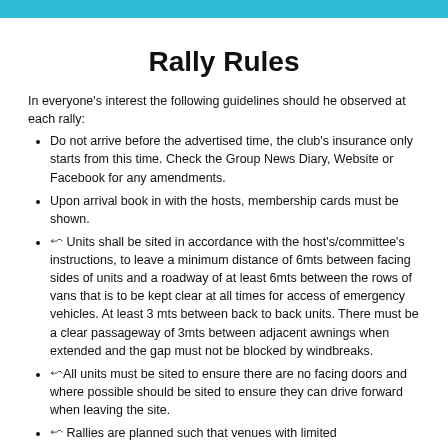Rally Rules
In everyone's interest the following guidelines should he observed at each rally:
Do not arrive before the advertised time, the club's insurance only starts from this time. Check the Group News Diary, Website or Facebook for any amendments.
Upon arrival book in with the hosts, membership cards must be shown.
⮿ Units shall be sited in accordance with the host's/committee's instructions, to leave a minimum distance of 6mts between facing sides of units and a roadway of at least 6mts between the rows of vans that is to be kept clear at all times for access of emergency vehicles. At least 3 mts between back to back units. There must be a clear passageway of 3mts between adjacent awnings when extended and the gap must not be blocked by windbreaks.
⮿All units must be sited to ensure there are no facing doors and where possible should be sited to ensure they can drive forward when leaving the site.
⮿ Rallies are planned such that venues with limited